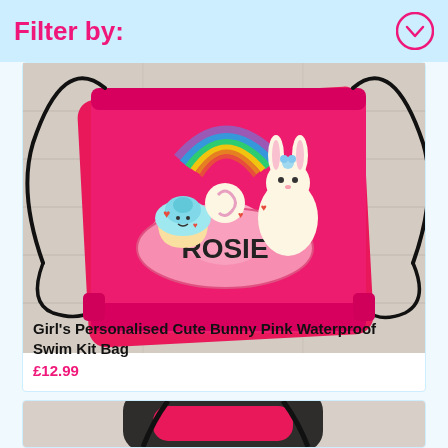Filter by:
[Figure (photo): Hot pink drawstring swim kit bag with a personalised design featuring a cute bunny, cupcake, rainbow, hearts, and the name ROSIE in a pink cloud on the bag, laid flat on a light wooden surface.]
Girl's Personalised Cute Bunny Pink Waterproof Swim Kit Bag
£12.99
[Figure (photo): Bottom portion of another product image showing a pink and black item, partially visible at the bottom of the page.]